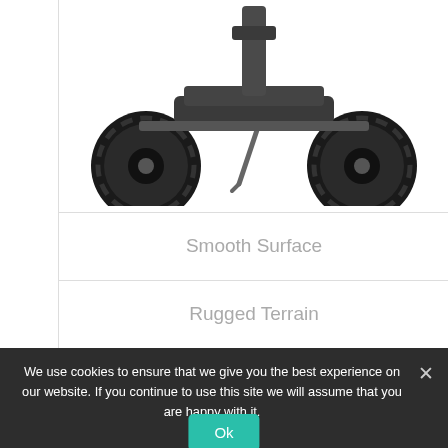[Figure (photo): Partial view of a Segway x2T SE personal transport vehicle showing large rugged tires and kickstand from below/behind angle]
Smooth Surface
Rugged Terrain
Enquire About the x2T SE
We use cookies to ensure that we give you the best experience on our website. If you continue to use this site we will assume that you are happy with it.
Ok
x2 SE Patroller